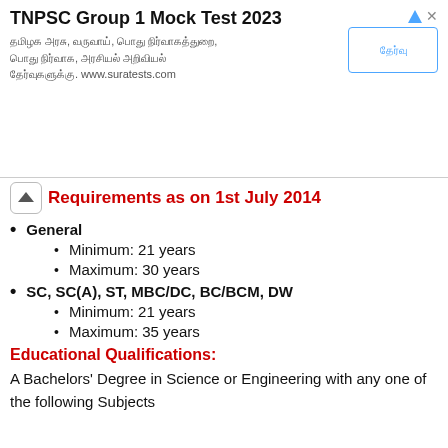[Figure (other): Advertisement banner for TNPSC Group 1 Mock Test 2023 by suratests.com, with Tamil script text and a button]
Requirements as on 1st July 2014
General
Minimum: 21 years
Maximum: 30 years
SC, SC(A), ST, MBC/DC, BC/BCM, DW
Minimum: 21 years
Maximum: 35 years
Educational Qualifications:
A Bachelors' Degree in Science or Engineering with any one of the following Subjects